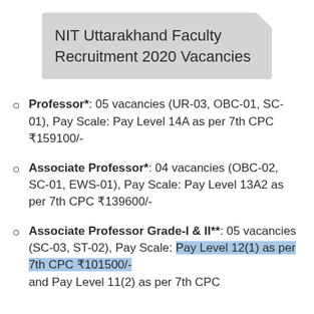NIT Uttarakhand Faculty Recruitment 2020 Vacancies
Professor*: 05 vacancies (UR-03, OBC-01, SC-01), Pay Scale: Pay Level 14A as per 7th CPC ₹159100/-
Associate Professor*: 04 vacancies (OBC-02, SC-01, EWS-01), Pay Scale: Pay Level 13A2 as per 7th CPC ₹139600/-
Associate Professor Grade-I & II**: 05 vacancies (SC-03, ST-02), Pay Scale: Pay Level 12(1) as per 7th CPC ₹101500/- and Pay Level 11(2) as per 7th CPC